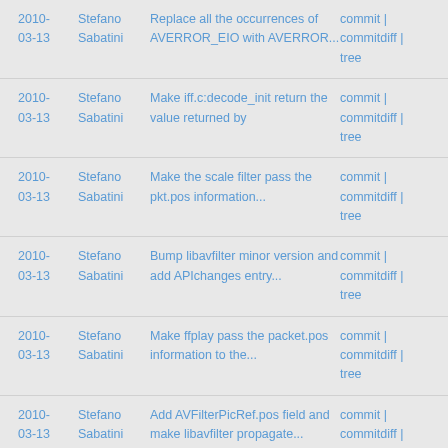| Date | Author | Description | Links |
| --- | --- | --- | --- |
| 2010-03-13 | Stefano Sabatini | Replace all the occurrences of AVERROR_EIO with AVERROR... | commit | commitdiff | tree |
| 2010-03-13 | Stefano Sabatini | Make iff.c:decode_init return the value returned by | commit | commitdiff | tree |
| 2010-03-13 | Stefano Sabatini | Make the scale filter pass the pkt.pos information... | commit | commitdiff | tree |
| 2010-03-13 | Stefano Sabatini | Bump libavfilter minor version and add APIchanges entry... | commit | commitdiff | tree |
| 2010-03-13 | Stefano Sabatini | Make ffplay pass the packet.pos information to the... | commit | commitdiff | tree |
| 2010-03-13 | Stefano Sabatini | Add AVFilterPicRef.pos field and make libavfilter propagate... | commit | commitdiff | tree |
next